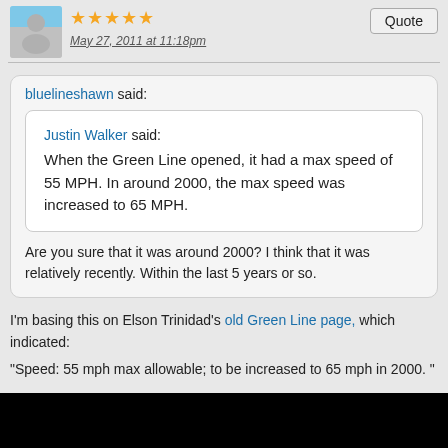[Figure (illustration): User avatar with blue sky background and grey silhouette figure]
★★★★★
May 27, 2011 at 11:18pm
Quote
bluelineshawn said:
Justin Walker said:
When the Green Line opened, it had a max speed of 55 MPH. In around 2000, the max speed was increased to 65 MPH.
Are you sure that it was around 2000? I think that it was relatively recently. Within the last 5 years or so.
I'm basing this on Elson Trinidad's old Green Line page, which indicated:
"Speed: 55 mph max allowable; to be increased to 65 mph in 2000. "